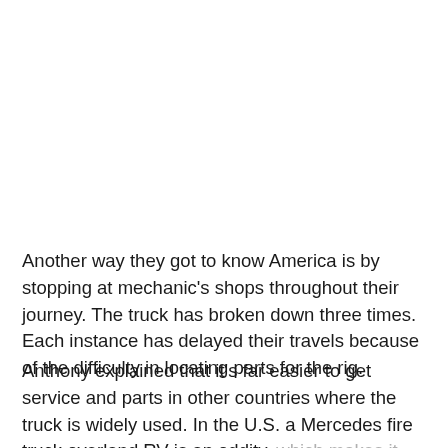Another way they got to know America is by stopping at mechanic's shops throughout their journey. The truck has broken down three times. Each instance has delayed their travels because of the difficulty in locating parts for the rig.
Anthony explained that it's far easier to get service and parts in other countries where the truck is widely used. In the U.S. a Mercedes fire truck overland RV is an oddity, which makes it difficult to get help when it breaks down.